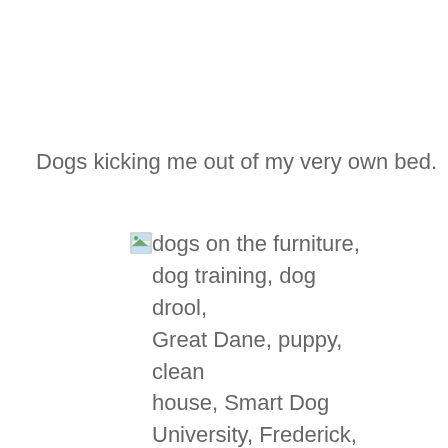Dogs kicking me out of my very own bed.
[Figure (illustration): Broken image icon (small image placeholder with mountain/sun graphic) followed by alt text: dogs on the furniture, dog training, dog drool, Great Dane, puppy, clean house, Smart Dog University, Frederick, Mt. Airy, dog obedience]